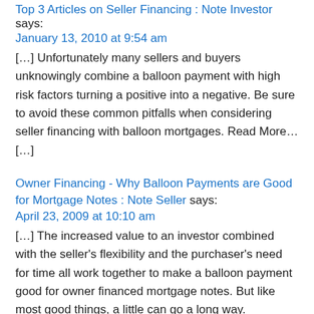Top 3 Articles on Seller Financing : Note Investor says: January 13, 2010 at 9:54 am
[…] Unfortunately many sellers and buyers unknowingly combine a balloon payment with high risk factors turning a positive into a negative. Be sure to avoid these common pitfalls when considering seller financing with balloon mortgages. Read More… […]
Owner Financing - Why Balloon Payments are Good for Mortgage Notes : Note Seller says: April 23, 2009 at 10:10 am
[…] The increased value to an investor combined with the seller's flexibility and the purchaser's need for time all work together to make a balloon payment good for owner financed mortgage notes.  But like most good things, a little can go a long way.  Unfortunately many owner financed notes combine a balloon payment with high risk factors turning a positive to a negative as detailed in